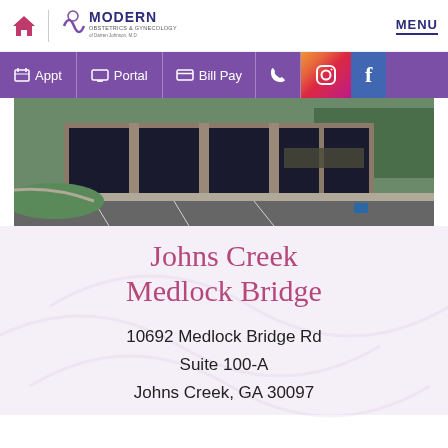Modern Obstetrics & Gynecology — MENU
[Figure (screenshot): Purple navigation bar with Appt, Portal, Bill Pay, phone, Instagram, and Facebook icons]
[Figure (photo): Exterior photo of a modern brick office building with parking lot in front]
Johns Creek Medlock Bridge
10692 Medlock Bridge Rd
Suite 100-A
Johns Creek, GA 30097